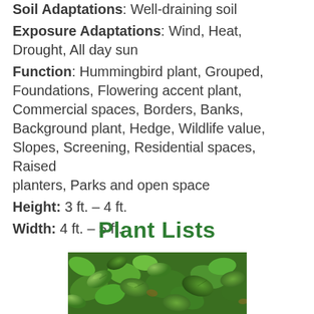Soil Adaptations: Well-draining soil
Exposure Adaptations: Wind, Heat, Drought, All day sun
Function: Hummingbird plant, Grouped, Foundations, Flowering accent plant, Commercial spaces, Borders, Banks, Background plant, Hedge, Wildlife value, Slopes, Screening, Residential spaces, Raised planters, Parks and open space
Height: 3 ft. – 4 ft.
Width: 4 ft. – 5 ft.
Plant Lists
[Figure (photo): Close-up photo of dense green plant leaves, likely a shrub, showing glossy rounded leaves packed together]